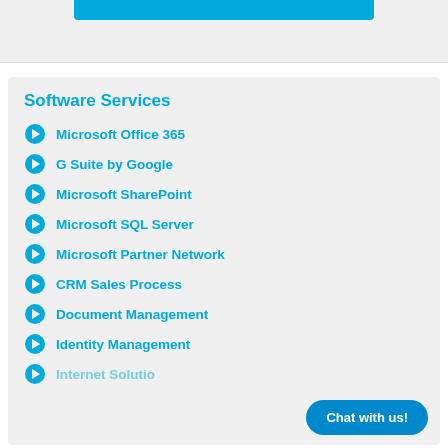Software Services
Microsoft Office 365
G Suite by Google
Microsoft SharePoint
Microsoft SQL Server
Microsoft Partner Network
CRM Sales Process
Document Management
Identity Management
Internet Solutions